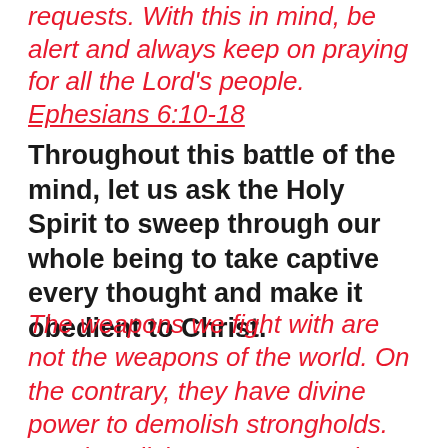requests. With this in mind, be alert and always keep on praying for all the Lord's people. Ephesians 6:10-18
Throughout this battle of the mind, let us ask the Holy Spirit to sweep through our whole being to take captive every thought and make it obedient to Christ.
The weapons we fight with are not the weapons of the world. On the contrary, they have divine power to demolish strongholds. We demolish arguments and